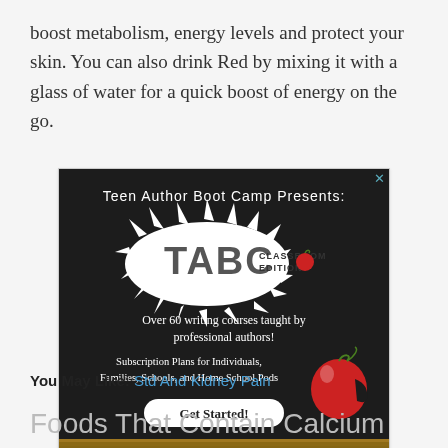boost metabolism, energy levels and protect your skin. You can also drink Red by mixing it with a glass of water for a quick boost of energy on the go.
[Figure (other): Advertisement for Teen Author Boot Camp Classroom Edition. Dark chalkboard background with TABC logo, text: 'Teen Author Boot Camp Presents:', 'TABC CLASSROOM EDITION', 'Over 60 writing courses taught by professional authors!', 'Subscription Plans for Individuals, Families, Schools, and Home School Pods', 'Get Started!' button, and an illustrated apple graphic.]
You May Like:  Std And Kidney Pain
Foods That Contain Calcium